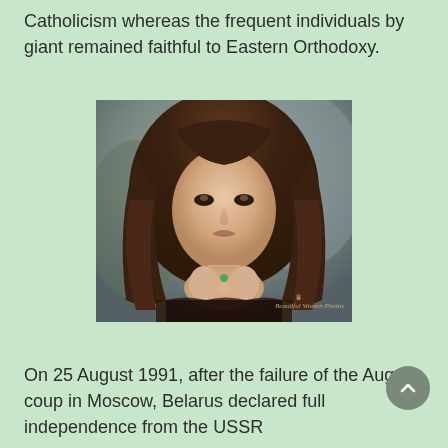Catholicism whereas the frequent individuals by giant remained faithful to Eastern Orthodoxy.
[Figure (photo): Portrait photo of a young woman with long dark wavy hair, hands clasped under chin, wearing a dark lace outfit. Watermark text partially visible in bottom right.]
On 25 August 1991, after the failure of the August coup in Moscow, Belarus declared full independence from the USSR